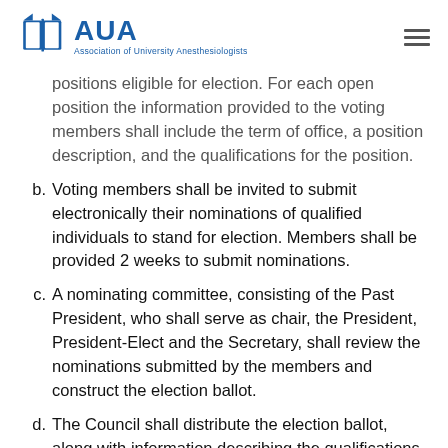AUA — Association of University Anesthesiologists
positions eligible for election. For each open position the information provided to the voting members shall include the term of office, a position description, and the qualifications for the position.
b. Voting members shall be invited to submit electronically their nominations of qualified individuals to stand for election. Members shall be provided 2 weeks to submit nominations.
c. A nominating committee, consisting of the Past President, who shall serve as chair, the President, President-Elect and the Secretary, shall review the nominations submitted by the members and construct the election ballot.
d. The Council shall distribute the election ballot, along with information describing the qualifications of each candidate, to the voting